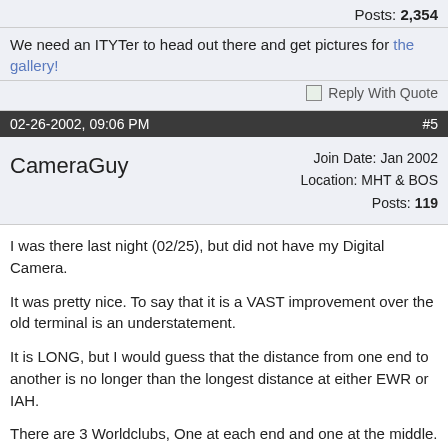Posts: 2,354
We need an ITYTer to head out there and get pictures for the gallery!
Reply With Quote
02-26-2002, 09:06 PM  #5
CameraGuy  Join Date: Jan 2002  Location: MHT & BOS  Posts: 119
I was there last night (02/25), but did not have my Digital Camera.
It was pretty nice. To say that it is a VAST improvement over the old terminal is an understatement.
It is LONG, but I would guess that the distance from one end to another is no longer than the longest distance at either EWR or IAH.
There are 3 Worldclubs, One at each end and one at the middle. The one at the middle was pretty big and had a ton of phone jacks and electrical outlets for laptops. You enter this one at the ground floor and then use an escalator or elevator to get to the club on the second level.